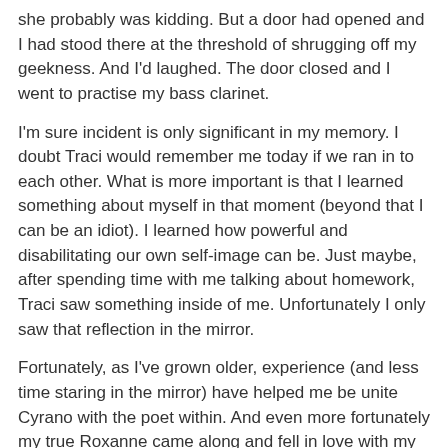she probably was kidding. But a door had opened and I had stood there at the threshold of shrugging off my geekness. And I'd laughed. The door closed and I went to practise my bass clarinet.
I'm sure incident is only significant in my memory. I doubt Traci would remember me today if we ran in to each other. What is more important is that I learned something about myself in that moment (beyond that I can be an idiot). I learned how powerful and disabilitating our own self-image can be. Just maybe, after spending time with me talking about homework, Traci saw something inside of me. Unfortunately I only saw that reflection in the mirror.
Fortunately, as I've grown older, experience (and less time staring in the mirror) have helped me be unite Cyrano with the poet within. And even more fortunately my true Roxanne came along and fell in love with my words and my nose.
Time at 6:55 AM
Share